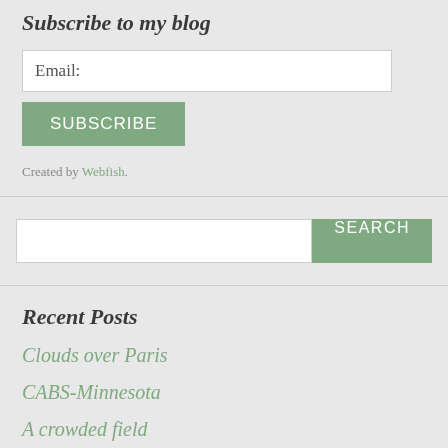Subscribe to my blog
Email:
SUBSCRIBE
Created by Webfish.
SEARCH
Recent Posts
Clouds over Paris
CABS-Minnesota
A crowded field